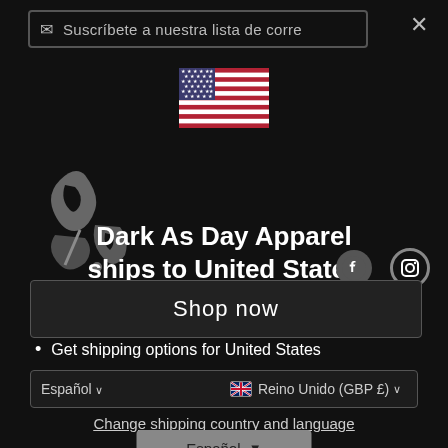Suscríbete a nuestra lista de corre
×
[Figure (illustration): US flag icon]
[Figure (logo): Dark As Day Apparel graffiti logo]
Dark As Day Apparel ships to United States
[Figure (logo): Facebook circle icon]
[Figure (logo): Instagram circle icon]
Shop in USD $
Get shipping options for United States
Language set to English
Español ∨    🇬🇧 Reino Unido (GBP £) ∨
Shop now
Change shipping country and language
Español ∨